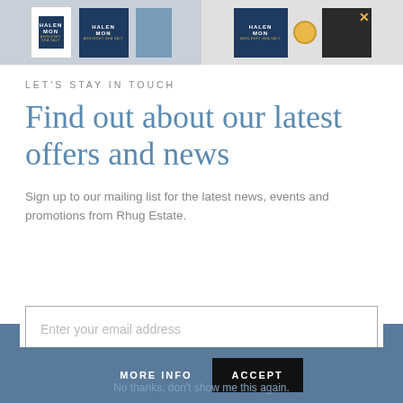[Figure (photo): Two product photos side by side at top: left shows Halen Mon branded packaging with white card and navy box, right shows Halen Mon branded box with yellow seal badge and black grains with gold X]
LET'S STAY IN TOUCH
Find out about our latest offers and news
Sign up to our mailing list for the latest news, events and promotions from Rhug Estate.
Enter your email address
JOIN
MORE INFO   No thanks, don't show me this again.   ACCEPT